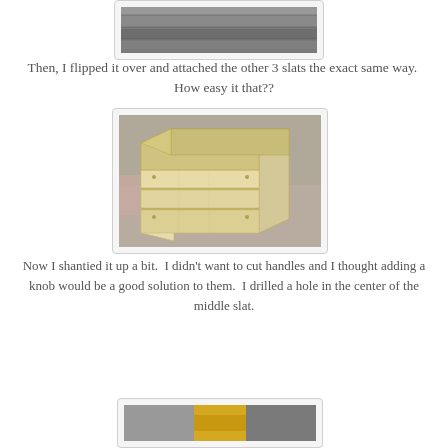[Figure (photo): Partial view of wooden boards/slats being assembled, seen from above on a concrete floor]
Then, I flipped it over and attached the other 3 slats the exact same way.  How easy it that??
[Figure (photo): A completed wooden crate box made of light pine slats sitting on a concrete garage floor]
Now I shantied it up a bit.  I didn't want to cut handles and I thought adding a knob would be a good solution to them.  I drilled a hole in the center of the middle slat.
[Figure (photo): Close-up partial view showing bottom of crate with yellow drill or tool visible]